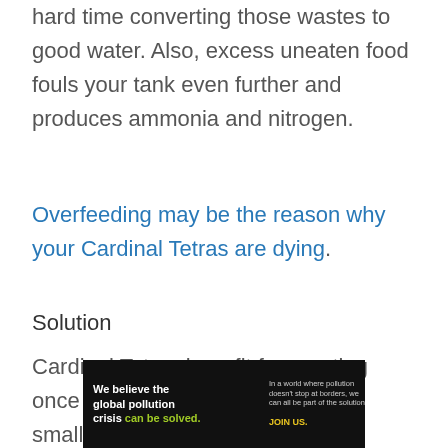hard time converting those wastes to good water. Also, excess uneaten food fouls your tank even further and produces ammonia and nitrogen.
Overfeeding may be the reason why your Cardinal Tetras are dying.
Solution
Cardinal Tetras benefit from eating once or twice a day. That too, in a small amount. Feed your Cardinal Tetras only what they can eat in under
[Figure (infographic): Advertisement banner for Pure Earth. Left side dark background with text 'We believe the global pollution crisis can be solved.' in white and green. Middle column text 'In a world where pollution doesn't stop at borders, we can all be part of the solution. JOIN US.' Right side shows Pure Earth logo (diamond shape with downward arrow) and PURE EARTH text in white.]